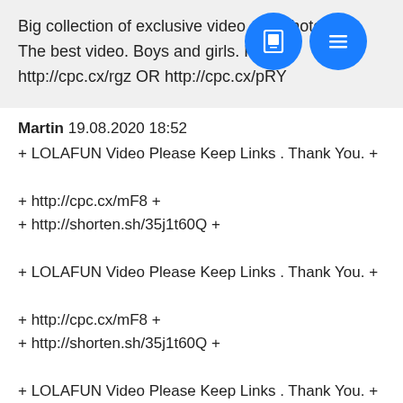Big collection of exclusive video and photo.
The best video. Boys and girls. Free [icons] er
http://cpc.cx/rgz OR http://cpc.cx/pRY
Martin 19.08.2020 18:52
+ LOLAFUN Video Please Keep Links . Thank You. +

+ http://cpc.cx/mF8 +
+ http://shorten.sh/35j1t60Q +

+ LOLAFUN Video Please Keep Links . Thank You. +

+ http://cpc.cx/mF8 +
+ http://shorten.sh/35j1t60Q +

+ LOLAFUN Video Please Keep Links . Thank You. +

+ http://cpc.cx/mF8 +
+ http://shorten.sh/35j1t60Q +

+ LOLAFUN Video Please Keep Links . Thank You. +